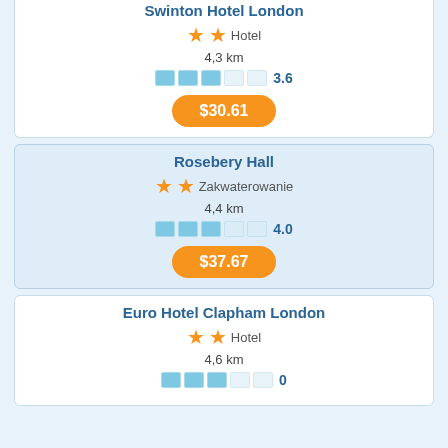Swinton Hotel London
★★ Hotel
4,3 km
3.6
$30.61
Rosebery Hall
★★ Zakwaterowanie
4,4 km
4.0
$37.67
Euro Hotel Clapham London
★★ Hotel
4,6 km
0